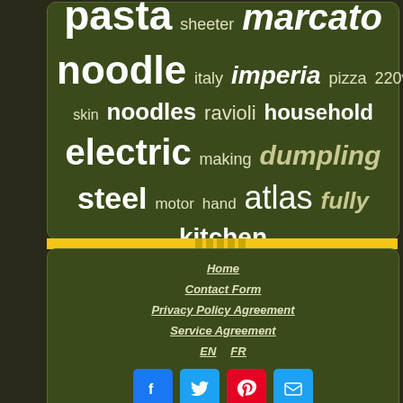[Figure (infographic): Tag cloud on dark olive/green background with words: pasta, sheeter, marcato, noodle, italy, imperia, pizza, 220v, skin, noodles, ravioli, household, electric, making, dumpling, steel, motor, hand, atlas, fully, kitchen]
Home | Contact Form | Privacy Policy Agreement | Service Agreement | EN | FR
[Figure (infographic): Social media buttons: Facebook, Twitter, Pinterest, Email]